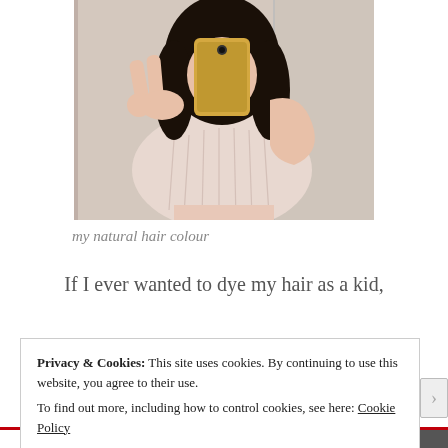[Figure (photo): Mirror selfie of a young woman with long dark hair, wearing a light pink ribbed knit crop sweater, making a peace sign with one hand and holding a gold smartphone with the other.]
my natural hair colour
If I ever wanted to dye my hair as a kid,
Privacy & Cookies: This site uses cookies. By continuing to use this website, you agree to their use.
To find out more, including how to control cookies, see here: Cookie Policy
Close and accept